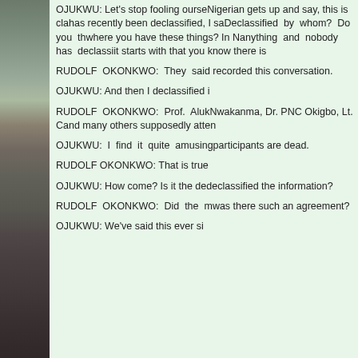[Figure (photo): Partial view of a building or wall structure along the left column of the page]
OJUKWU: Let's stop fooling ourse... Nigerian gets up and say, this is cla... has recently been declassified, I sa... Declassified by whom? Do you th... where you have these things? In N... anything and nobody has declassi... it starts with that you know there is...
RUDOLF OKONKWO: They said ... recorded this conversation.
OJUKWU: And then I declassified i...
RUDOLF OKONKWO: Prof. Aluk... Nwakanma, Dr. PNC Okigbo, Lt. C... and many others supposedly atten...
OJUKWU: I find it quite amusing... participants are dead.
RUDOLF OKONKWO: That is true...
OJUKWU: How come? Is it the de... declassified the information?
RUDOLF OKONKWO: Did the m... was there such an agreement?
OJUKWU: We've said this ever si...